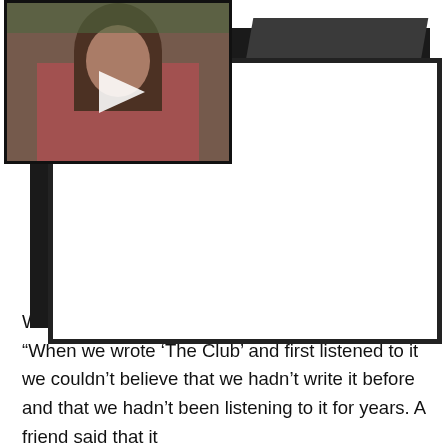[Figure (screenshot): Video thumbnail showing a person in a pink/red top with long hair, with a white play button overlay. Dark card and white card frame elements visible behind.]
When speaking to Stereogum, the band said: “When we wrote ‘The Club’ and first listened to it we couldn’t believe that we hadn’t write it before and that we hadn’t been listening to it for years. A friend said that it is...